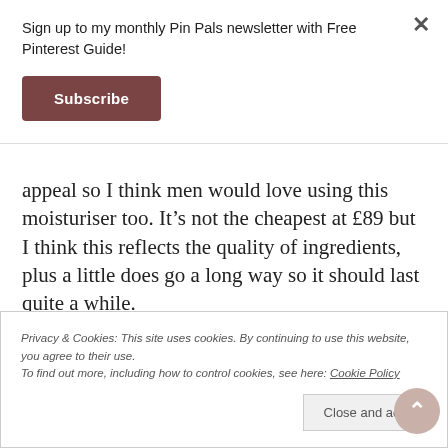Sign up to my monthly Pin Pals newsletter with Free Pinterest Guide!
Subscribe
appeal so I think men would love using this moisturiser too. It's not the cheapest at £89 but I think this reflects the quality of ingredients, plus a little does go a long way so it should last quite a while.
Along with Samaya Anti-Ageing Cream I received a small
Privacy & Cookies: This site uses cookies. By continuing to use this website, you agree to their use.
To find out more, including how to control cookies, see here: Cookie Policy
Close and acc